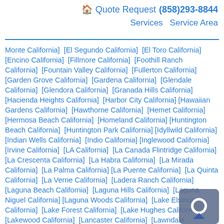🏠 Quote Request (858)293-8844 Services Service Area
Monte California] [El Segundo California] [El Toro California] [Encino California] [Fillmore California] [Foothill Ranch California] [Fountain Valley California] [Fullerton California] [Garden Grove California] [Gardena California] [Glendale California] [Glendora California] [Granada Hills California] [Hacienda Heights California] [Harbor City California] [Hawaiian Gardens California] [Hawthorne California] [Hemet California] [Hermosa Beach California] [Homeland California] [Huntington Beach California] [Huntington Park California] [Idyllwild California] [Indian Wells California] [Indio California] [Inglewood California] [Irvine California] [LA California] [La Canada Flintridge California] [La Crescenta California] [La Habra California] [La Mirada California] [La Palma California] [La Puente California] [La Quinta California] [La Verne California] [Ladera Ranch California] [Laguna Beach California] [Laguna Hills California] [Laguna Niguel California] [Laguna Woods California] [Lake Elsinore California] [Lake Forest California] [Lake Hughes California] [Lakewood California] [Lancaster California] [Lawndale California] [LB California] [Littlerock California] [Llano California] [Lo California] [Long Beach California] [Los Alamitos California] [Los Angeles California] [Lynwood California] [Malibu California] [Manhattan Beach California] [March Air Reserve Base California] [Marina Del Rey California] [Maywood California] [Mecca California] [Menifee California] [Midway